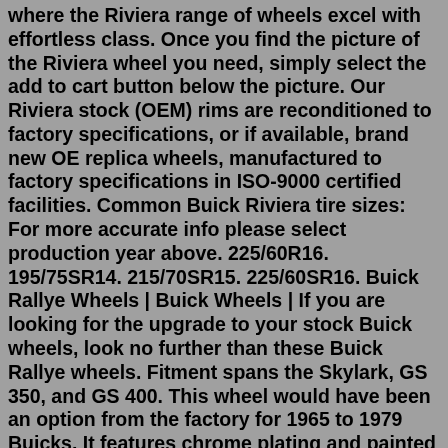where the Riviera range of wheels excel with effortless class. Once you find the picture of the Riviera wheel you need, simply select the add to cart button below the picture. Our Riviera stock (OEM) rims are reconditioned to factory specifications, or if available, brand new OE replica wheels, manufactured to factory specifications in ISO-9000 certified facilities. Common Buick Riviera tire sizes: For more accurate info please select production year above. 225/60R16. 195/75SR14. 215/70SR15. 225/60SR16. Buick Rallye Wheels | Buick Wheels | If you are looking for the upgrade to your stock Buick wheels, look no further than these Buick Rallye wheels. Fitment spans the Skylark, GS 350, and GS 400. This wheel would have been an option from the factory for 1965 to 1979 Buicks. It features chrome plating and painted lug wells. The 5x4 3/4 bolt pattern will not fit the Riviera or Wildcat (which have ... Search for 1000's of Buick Riviera Custom Wheels using our custom search tool for rims and tires. There has never been an easier or more complete wheel search available on any other